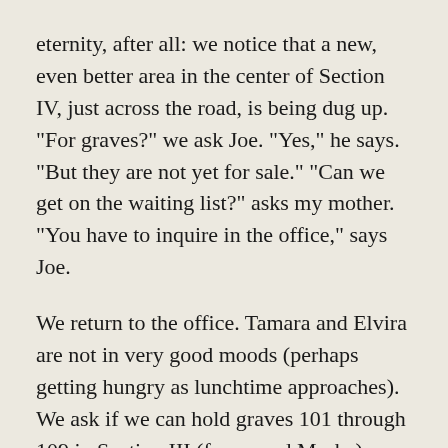eternity, after all: we notice that a new, even better area in the center of Section IV, just across the road, is being dug up. "For graves?" we ask Joe. "Yes," he says. "But they are not yet for sale." "Can we get on the waiting list?" asks my mother. "You have to inquire in the office," says Joe.
We return to the office. Tamara and Elvira are not in very good moods (perhaps getting hungry as lunchtime approaches). We ask if we can hold graves 101 through 109 in Section III (for us and Masha), while waiting for the new sites in Section IV to go on sale. "We do not hold graves," says Elvira. "You either buy them now or not." My mother is not so easy to defeat. She says: "We are going to buy nine graves from you anyway. We just